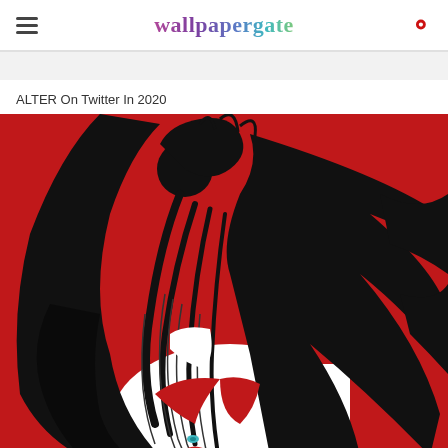wallpapergate
ALTER On Twitter In 2020
[Figure (illustration): Anime illustration on a red background showing a character with long black hair covering most of their face, wearing what appears to be a red and white outfit. The art style is bold black linework with red and white coloring.]